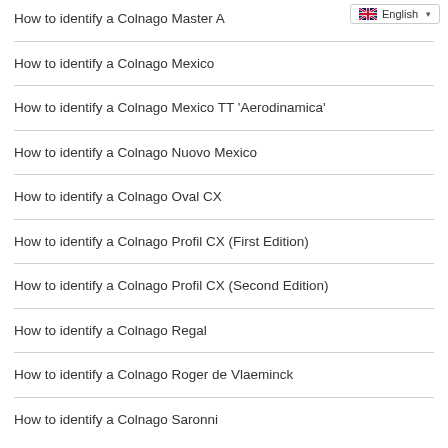How to identify a Colnago Master A
How to identify a Colnago Mexico
How to identify a Colnago Mexico TT 'Aerodinamica'
How to identify a Colnago Nuovo Mexico
How to identify a Colnago Oval CX
How to identify a Colnago Profil CX (First Edition)
How to identify a Colnago Profil CX (Second Edition)
How to identify a Colnago Regal
How to identify a Colnago Roger de Vlaeminck
How to identify a Colnago Saronni